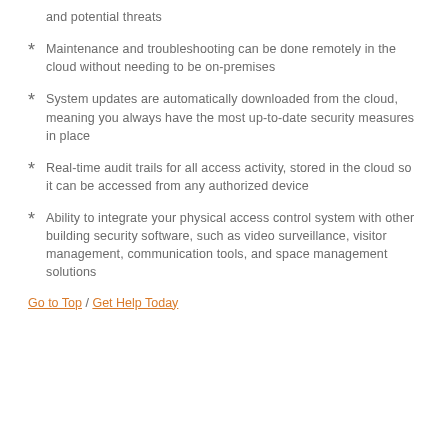and potential threats
Maintenance and troubleshooting can be done remotely in the cloud without needing to be on-premises
System updates are automatically downloaded from the cloud, meaning you always have the most up-to-date security measures in place
Real-time audit trails for all access activity, stored in the cloud so it can be accessed from any authorized device
Ability to integrate your physical access control system with other building security software, such as video surveillance, visitor management, communication tools, and space management solutions
Go to Top / Get Help Today